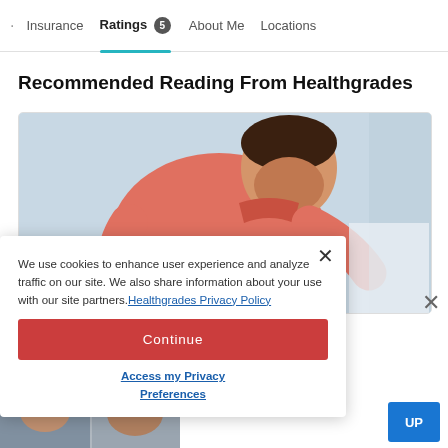Insurance  Ratings 5  About Me  Locations
Recommended Reading From Healthgrades
[Figure (photo): Man in a coral/salmon polo shirt bent over holding his back in pain, suggesting back pain or injury, on a light blue/white background]
We use cookies to enhance user experience and analyze traffic on our site. We also share information about your use with our site partners. Healthgrades Privacy Policy
Continue
Access my Privacy Preferences